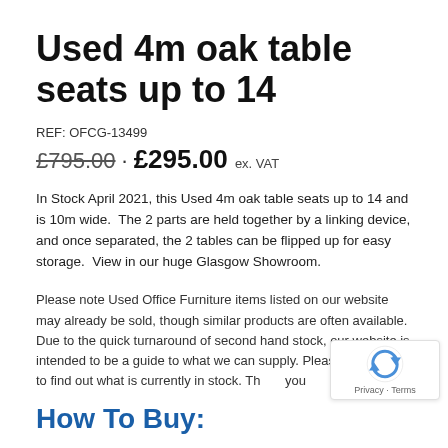Used 4m oak table seats up to 14
REF: OFCG-13499
£795.00 · £295.00 ex. VAT
In Stock April 2021, this Used 4m oak table seats up to 14 and is 10m wide.  The 2 parts are held together by a linking device, and once separated, the 2 tables can be flipped up for easy storage.  View in our huge Glasgow Showroom.
Please note Used Office Furniture items listed on our website may already be sold, though similar products are often available. Due to the quick turnaround of second hand stock, our website is intended to be a guide to what we can supply. Please contact us to find out what is currently in stock. Thank you
How To Buy: